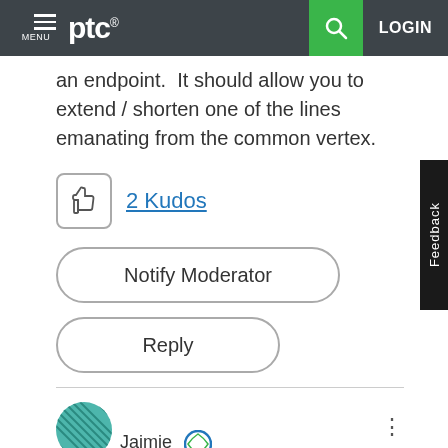ptc® MENU  LOGIN
an endpoint.  It should allow you to extend / shorten one of the lines emanating from the common vertex.
2 Kudos
Notify Moderator
Reply
Jaimie